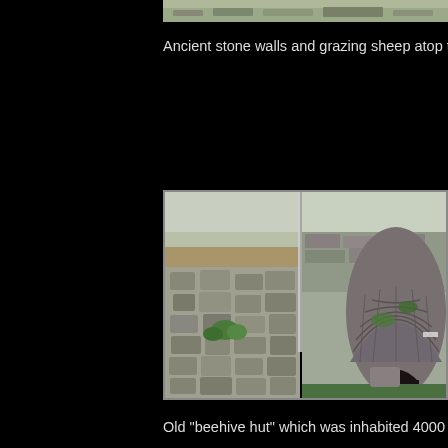[Figure (photo): Partial view of ancient stone walls and grazing sheep at top of page]
Ancient stone walls and grazing sheep atop the
[Figure (photo): Composite photo showing stone path on left and old beehive hut made of stacked stones on right, with dark doorway entrance]
Old "beehive hut" which was inhabited 4000 ye